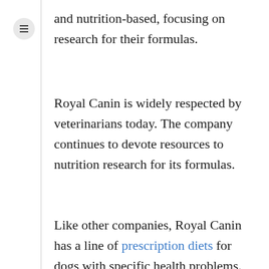and nutrition-based, focusing on research for their formulas.
Royal Canin is widely respected by veterinarians today. The company continues to devote resources to nutrition research for its formulas.
Like other companies, Royal Canin has a line of prescription diets for dogs with specific health problems.
These foods have to be bought with a